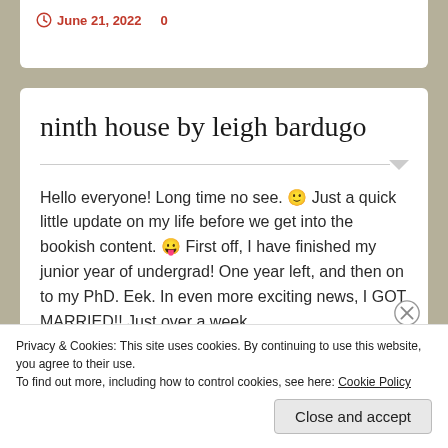June 21, 2022   0
ninth house by leigh bardugo
Hello everyone! Long time no see. 🙂 Just a quick little update on my life before we get into the bookish content. 😛 First off, I have finished my junior year of undergrad! One year left, and then on to my PhD. Eek. In even more exciting news, I GOT MARRIED!! Just over a week...
Advertisements
Privacy & Cookies: This site uses cookies. By continuing to use this website, you agree to their use.
To find out more, including how to control cookies, see here: Cookie Policy
Close and accept